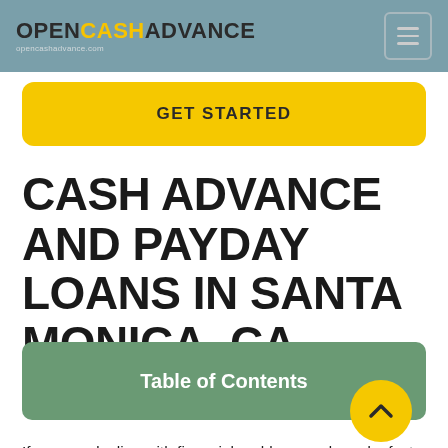OPENCASHADVANCE
CASH ADVANCE AND PAYDAY LOANS IN SANTA MONICA, CA
Table of Contents
If you are dealing with financial problems and need a fast loan, we can help you learn more about potential options. Use our site to learn about cash advance, installr...